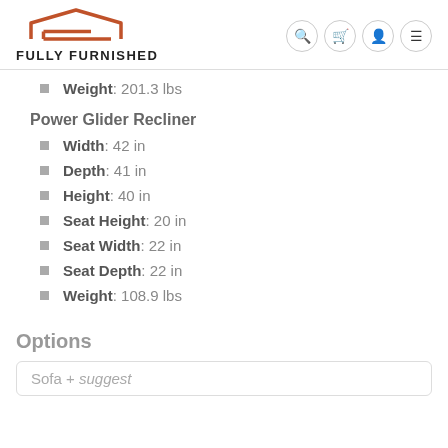FULLY FURNISHED
Weight: 201.3 lbs
Power Glider Recliner
Width: 42 in
Depth: 41 in
Height: 40 in
Seat Height: 20 in
Seat Width: 22 in
Seat Depth: 22 in
Weight: 108.9 lbs
Options